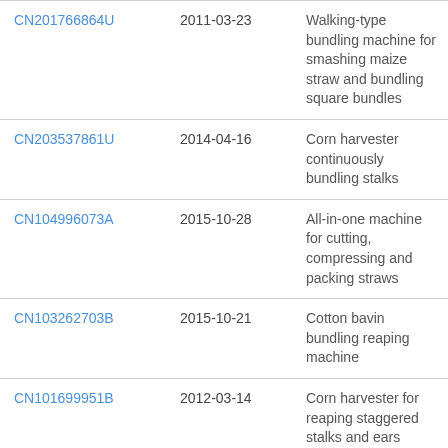| CN201766864U | 2011-03-23 | Walking-type bundling machine for smashing maize straw and bundling square bundles |
| CN203537861U | 2014-04-16 | Corn harvester continuously bundling stalks |
| CN104996073A | 2015-10-28 | All-in-one machine for cutting, compressing and packing straws |
| CN103262703B | 2015-10-21 | Cotton bavin bundling reaping machine |
| CN101699951B | 2012-03-14 | Corn harvester for reaping staggered stalks and ears |
| CN205389481U | 2016-07-27 | Self -propelled stem stalk bundling machine |
| CN106612875A | 2017-05-10 | Sweet potato vine harvesting machine |
| CN204539992U | 2015-08-12 | Band cuts the ceding of |